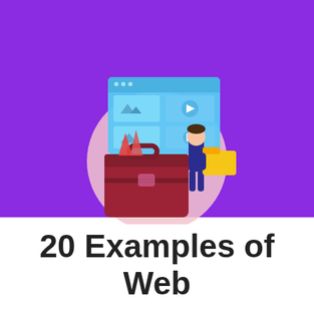[Figure (illustration): Illustration on purple background showing a large red/maroon briefcase with red papers sticking out, a light pink circle in the background, a browser window with image and video thumbnails in blue tones, and a person/character in dark blue holding a large yellow folder]
20 Examples of Web